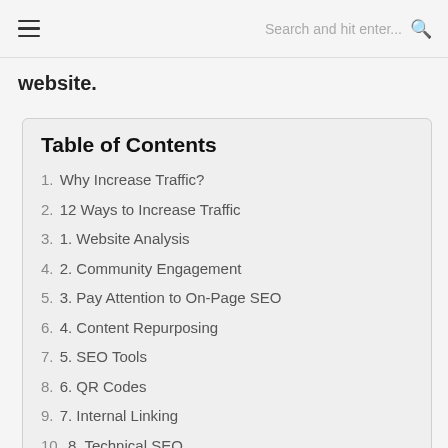≡  Search and hit enter...  🔍
website.
Table of Contents
1. Why Increase Traffic?
2. 12 Ways to Increase Traffic
3. 1. Website Analysis
4. 2. Community Engagement
5. 3. Pay Attention to On-Page SEO
6. 4. Content Repurposing
7. 5. SEO Tools
8. 6. QR Codes
9. 7. Internal Linking
10. 8. Technical SEO
11. 9. Academy & Knowledge-based Po: